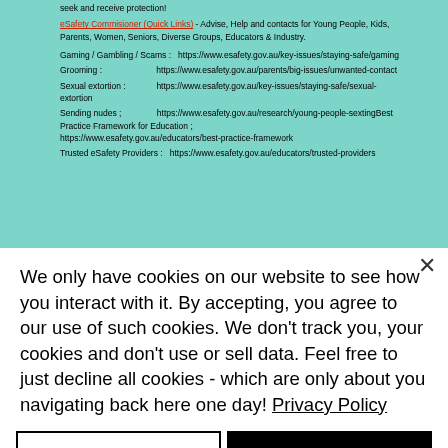seek and receive protection!
eSafety Commisioner (Quick Links) - Advise, Help and contacts for Young People, Kids, Parents, Women, Seniors, Diverse Groups, Educators & Industry.
Gaming / Gambling / Scams : https://www.esafety.gov.au/key-issues/staying-safe/gaming
Grooming : https://www.esafety.gov.au/parents/big-issues/unwanted-contact
Sexual extortion : https://www.esafety.gov.au/key-issues/staying-safe/sexual-extortion
Sending nudes ; https://www.esafety.gov.au/research/young-people-sextingBest Practice Framework for Education ; https://www.esafety.gov.au/educators/best-practice-framework
Trusted eSafety Providers : https://www.esafety.gov.au/educators/trusted-providers
We only have cookies on our website to see how you interact with it. By accepting, you agree to our use of such cookies. We don't track you, your cookies and don't use or sell data. Feel free to just decline all cookies - which are only about you navigating back here one day! Privacy Policy
Decline All
Accept
Settings